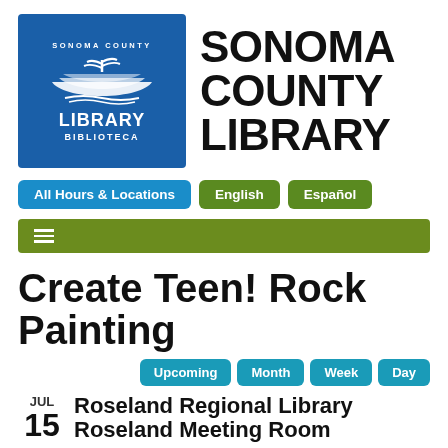[Figure (logo): Sonoma County Library logo: blue square with open book graphic, 'SONOMA COUNTY' arc text, 'LIBRARY' in large text, 'BIBLIOTECA' below]
SONOMA COUNTY LIBRARY
All Hours & Locations
English
Español
☰ (hamburger menu bar)
Create Teen! Rock Painting
Upcoming
Month
Week
Day
JUL 15  Roseland Regional Library  Roseland Meeting Room